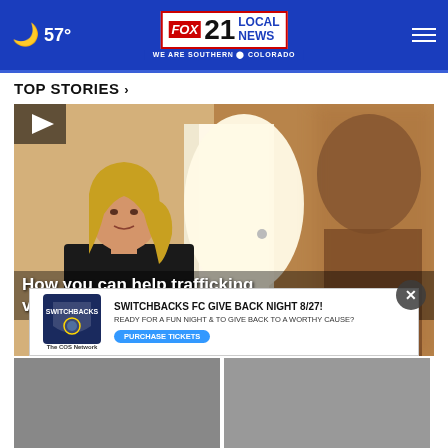🌙 57° | FOX 21 LOCAL NEWS — WE ARE SOUTHERN COLORADO
TOP STORIES ›
[Figure (photo): Video thumbnail showing a blonde woman in an FBI jacket being interviewed, with a blurred figure on the right side. Play button in top-left corner.]
How you can help trafficking victims...
[Figure (infographic): Advertisement banner: SWITCHBACKS FC GIVE BACK NIGHT 8/27! READY FOR A FUN NIGHT & TO GIVE BACK TO A WORTHY CAUSE? PURCHASE TICKETS — The COS Network]